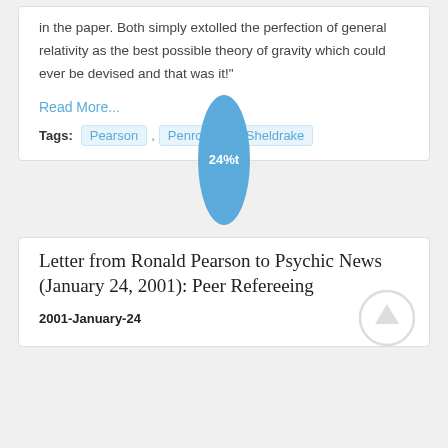in the paper. Both simply extolled the perfection of general relativity as the best possible theory of gravity which could ever be devised and that was it!"
Read More...
Tags: Pearson , Penrose , Sheldrake
[Figure (other): Blue oval/pill-shaped badge with text '24%t']
Letter from Ronald Pearson to Psychic News (January 24, 2001): Peer Refereeing
2001-January-24